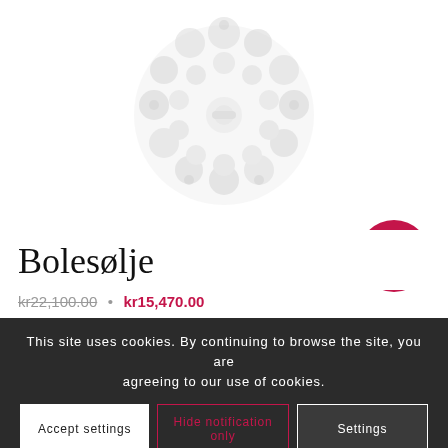[Figure (photo): Product image of Bolesølje jewelry item — a decorative circular brooch/broach with floral and bead patterns in silver/white tones, shown on white background.]
Bolesølje
kr22,100.00 • kr15,470.00
Tilbud!
This site uses cookies. By continuing to browse the site, you are agreeing to our use of cookies.
Accept settings
Hide notification only
Settings